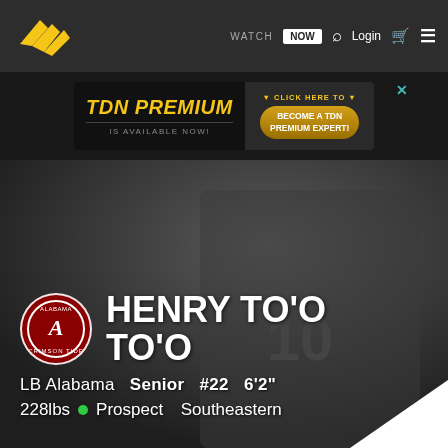[Figure (logo): TDN website navigation bar with logo, WATCH NOW button, search icon, Login, cart icon, and hamburger menu]
[Figure (infographic): TDN Premium advertisement banner: 'TDN PREMIUM IS AVAILABLE NOW!' with 'BECOME A TDN PREMIUM EXPERT!' button]
HENRY TO'O TO'O
LB Alabama   Senior   #22   6'2"
228lbs  •  Prospect   Southeastern